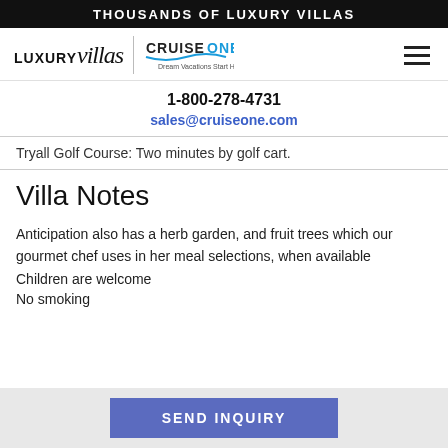THOUSANDS OF LUXURY VILLAS
[Figure (logo): LUXURYvillas logo with CruiseOne Dream Vacations Start Here logo and hamburger menu icon]
1-800-278-4731
sales@cruiseone.com
Tryall Golf Course: Two minutes by golf cart.
Villa Notes
Anticipation also has a herb garden, and fruit trees which our gourmet chef uses in her meal selections, when available
Children are welcome
No smoking
SEND INQUIRY